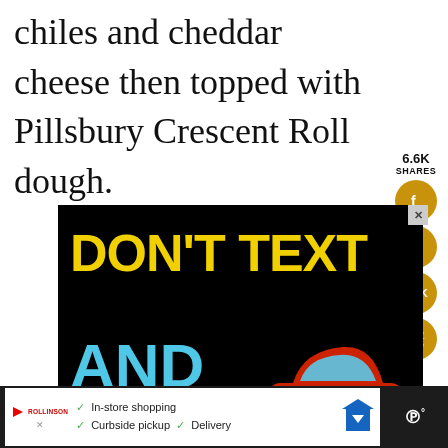chiles and cheddar cheese then topped with Pillsbury Crescent Roll dough.
[Figure (screenshot): Advertisement: 'DON'T TEXT AND' with a cartoon red car image, ad council and NHTSA branding on black background]
[Figure (screenshot): Social sharing sidebar: 6.6K SHARES, Facebook button, heart/save button, 6.7K share count button, share icon button]
[Figure (screenshot): What's Next widget: Doritos Casserole w...]
[Figure (screenshot): Bottom advertisement: In-store shopping, Curbside pickup, Delivery with navigation arrow icon]